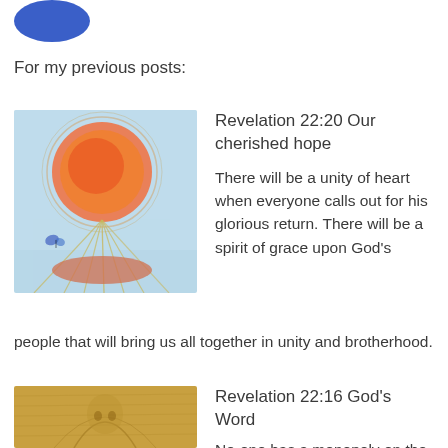[Figure (logo): Blue rounded rectangle logo partially visible at top left]
For my previous posts:
[Figure (illustration): Illustration with large orange/red circle (sun) above a flower or plant form with blue butterfly, pastel colors on light blue-green background]
Revelation 22:20 Our cherished hope
There will be a unity of heart when everyone calls out for his glorious return. There will be a spirit of grace upon God’s people that will bring us all together in unity and brotherhood.
[Figure (illustration): Golden/amber toned illustration showing a robed figure with architectural arches or halo, textured like old manuscript art]
Revelation 22:16 God’s Word
No-one has a monopoly on the truths of this